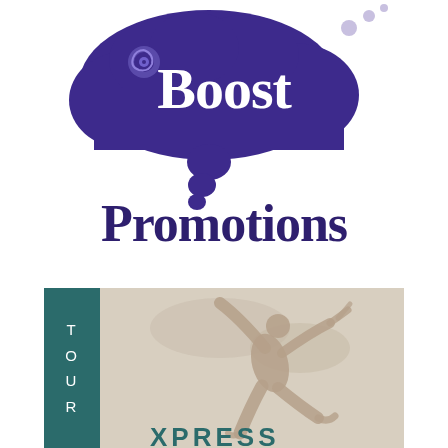[Figure (logo): Boost Promotions logo: purple thought-bubble cloud shape with swirl and text 'Boost' in white serif font, with bubble dots below, and 'Promotions' in large dark purple serif text underneath]
[Figure (logo): Tour Xpress logo banner: teal left panel with vertical letters T-O-U-R, right panel with beige/tan background showing silhouette of a dancer with arms raised, and 'XPRESS' text at the bottom]